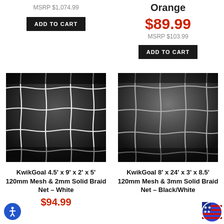MSRP $1,074.99
ADD TO CART
Orange
$89.99
MSRP $103.99
ADD TO CART
[Figure (photo): Close-up of white soccer net mesh, 120mm, on black background]
[Figure (photo): Close-up of black/white soccer net mesh, 120mm, on black background]
KwikGoal 4.5’ x 9’ x 2’ x 5’ 120mm Mesh & 2mm Solid Braid Net – White
$94.99
KwikGoal 8’ x 24’ x 3’ x 8.5’ 120mm Mesh & 3mm Solid Braid Net – Black/White